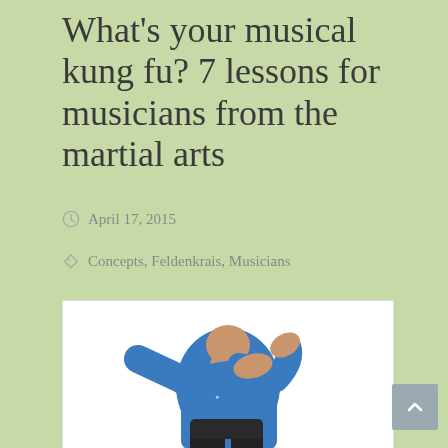What's your musical kung fu? 7 lessons for musicians from the martial arts
April 17, 2015
Concepts, Feldenkrais, Musicians
[Figure (photo): Person in a blue t-shirt and black pants performing a martial arts pose, arms crossed in front of body, on a white background]